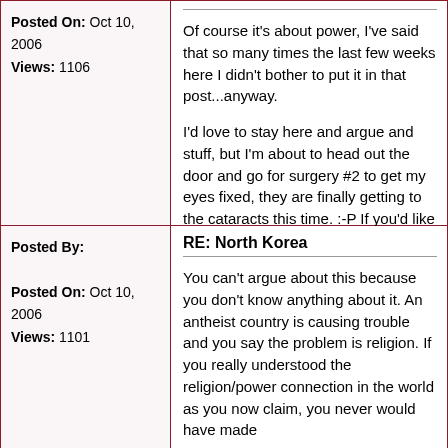Posted On: Oct 10, 2006
Views: 1106
Of course it's about power, I've said that so many times the last few weeks here I didn't bother to put it in that post...anyway.

I'd love to stay here and argue and stuff, but I'm about to head out the door and go for surgery #2 to get my eyes fixed, they are finally getting to the cataracts this time. :-P If you'd like to continue this we can as soon as I get back.
Posted By:
Posted On: Oct 10, 2006
Views: 1101
RE: North Korea
You can't argue about this because you don't know anything about it. An antheist country is causing trouble and you say the problem is religion. If you really understood the religion/power connection in the world as you now claim, you never would have made